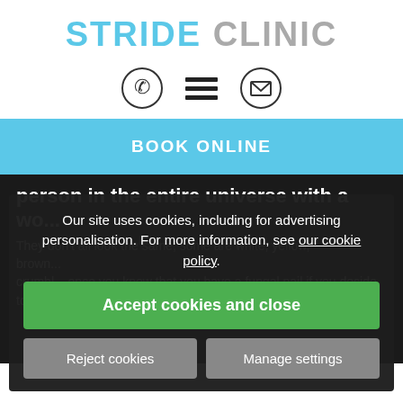STRIDE CLINIC
[Figure (infographic): Navigation icons: phone icon in circle, hamburger menu (three horizontal lines), envelope icon in circle]
BOOK ONLINE
person in the entire universe with a wo...
Our site uses cookies, including for advertising personalisation. For more information, see our cookie policy.
They don't all look the same, some are white, yellow, brown...
crumbl... once you know that you have a fungal nail if you decide to treat it you w... on... p and be diligent.
Accept cookies and close
Reject cookies
Manage settings